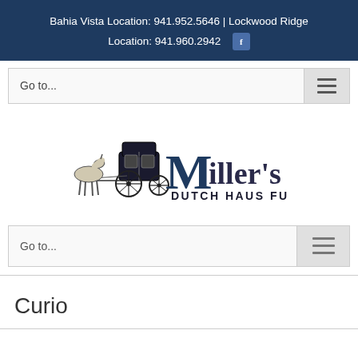Bahia Vista Location: 941.952.5646 | Lockwood Ridge Location: 941.960.2942
Go to...
[Figure (logo): Miller's Dutch Haus Furniture logo with horse and carriage illustration]
Go to...
Curio